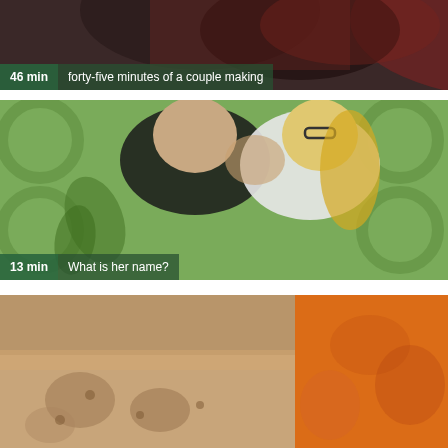[Figure (photo): Partial view of a couple, top of video thumbnail. Label bar shows '46 min' and 'forty-five minutes of a couple making']
46 min   forty-five minutes of a couple making
[Figure (photo): Video thumbnail showing a man and a blonde woman with glasses kissing, green patterned background. Label bar shows '13 min' and 'What is her name?']
13 min   What is her name?
[Figure (photo): Partial video thumbnail showing a couch and warm orange-lit room background.]